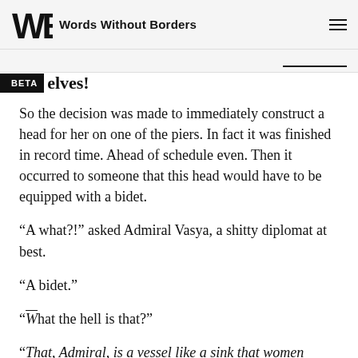Words Without Borders
elves!
So the decision was made to immediately construct a head for her on one of the piers. In fact it was finished in record time. Ahead of schedule even. Then it occurred to someone that this head would have to be equipped with a bidet.
“A what?!” asked Admiral Vasya, a shitty diplomat at best.
“A bidet.”
“¯What the hell is that?”
“That, Admiral, is a vessel like a sink that women